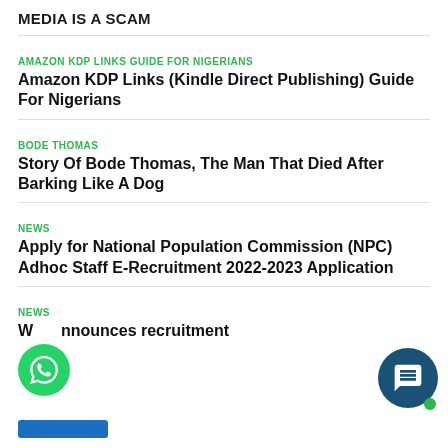MEDIA IS A SCAM
AMAZON KDP LINKS GUIDE FOR NIGERIANS
Amazon KDP Links (Kindle Direct Publishing) Guide For Nigerians
BODE THOMAS
Story Of Bode Thomas, The Man That Died After Barking Like A Dog
NEWS
Apply for National Population Commission (NPC) Adhoc Staff E-Recruitment 2022-2023 Application
NEWS
W...nnounces recruitment